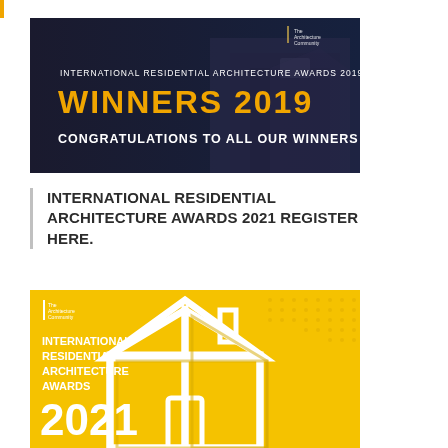[Figure (illustration): International Residential Architecture Awards 2019 Winners banner. Dark background with a modern building. Orange text reads WINNERS 2019. White text reads CONGRATULATIONS TO ALL OUR WINNERS. Small logo for The Architecture Community in top right.]
INTERNATIONAL RESIDENTIAL ARCHITECTURE AWARDS 2021 REGISTER HERE.
[Figure (illustration): International Residential Architecture Awards 2021 promotional banner. Yellow background with white outline of a house. White text reads: INTERNATIONAL RESIDENTIAL ARCHITECTURE AWARDS 2021. Small Architecture Community logo in top left.]